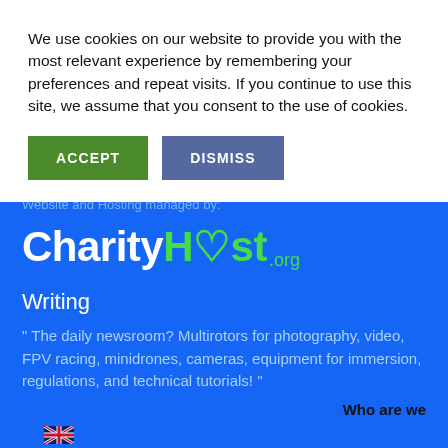We use cookies on our website to provide you with the most relevant experience by remembering your preferences and repeat visits. If you continue to use this site, we assume that you consent to the use of cookies.
[Figure (other): Cookie consent buttons: ACCEPT (green) and DISMISS (blue-grey)]
Website and Hosting managed by:
[Figure (logo): CharityHost.org logo — 'Charity' in white bold, 'H♡st' in green bold with a heart in the 'o', '.org' in green smaller text]
Writing
" The daily newsroom? Multirotors for photography, video, FPV racing, minidrones, cameras, equipment for immersion, regulations, and technical tutorials! "
Who are we
[Figure (illustration): UK flag icon at bottom left, partially visible]